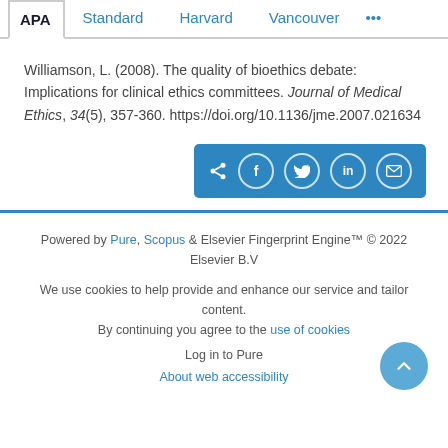APA | Standard | Harvard | Vancouver | ...
Williamson, L. (2008). The quality of bioethics debate: Implications for clinical ethics committees. Journal of Medical Ethics, 34(5), 357-360. https://doi.org/10.1136/jme.2007.021634
[Figure (other): Social share buttons: share icon, Facebook, Twitter, LinkedIn, Email — white icons on blue background]
Powered by Pure, Scopus & Elsevier Fingerprint Engine™ © 2022 Elsevier B.V
We use cookies to help provide and enhance our service and tailor content. By continuing you agree to the use of cookies
Log in to Pure
About web accessibility